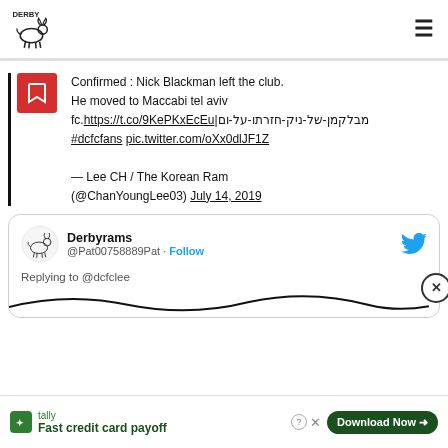Derby
Confirmed : Nick Blackman left the club. He moved to Maccabi tel aviv fc. https://t.co/9KePKxEcEu|מבלקמן-של-ניק-חזרתו-על-ום #dcfcfans pic.twitter.com/oXx0dlJF1Z — Lee CH / The Korean Ram (@ChanYoungLee03) July 14, 2019
Derbyrams @Pat00758889Pat · Follow Replying to @dcfclee
Tally — Fast credit card payoff — Download Now